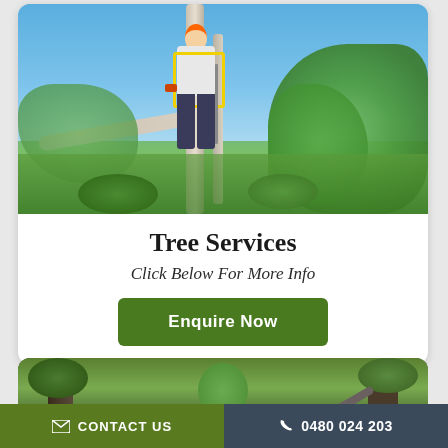[Figure (photo): Arborist / tree surgeon standing high in a tree, wearing safety harness and helmet, with blue sky and green foliage in background]
Tree Services
Click Below For More Info
Enquire Now
[Figure (photo): Partial view of another tree services photo showing trees and machinery at the bottom of the page]
CONTACT US
0480 024 203